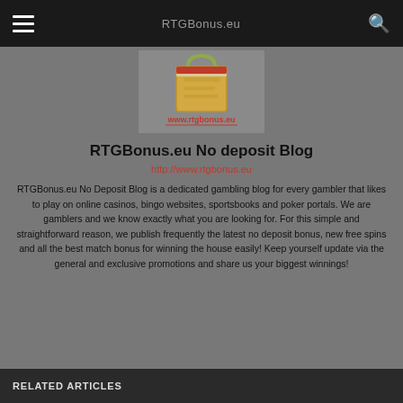RTGBonus.eu
[Figure (logo): RTGBonus.eu website logo with shopping bag graphic and www.rtgbonus.eu text]
RTGBonus.eu No deposit Blog
http://www.rtgbonus.eu
RTGBonus.eu No Deposit Blog is a dedicated gambling blog for every gambler that likes to play on online casinos, bingo websites, sportsbooks and poker portals. We are gamblers and we know exactly what you are looking for. For this simple and straightforward reason, we publish frequently the latest no deposit bonus, new free spins and all the best match bonus for winning the house easily! Keep yourself update via the general and exclusive promotions and share us your biggest winnings!
RELATED ARTICLES